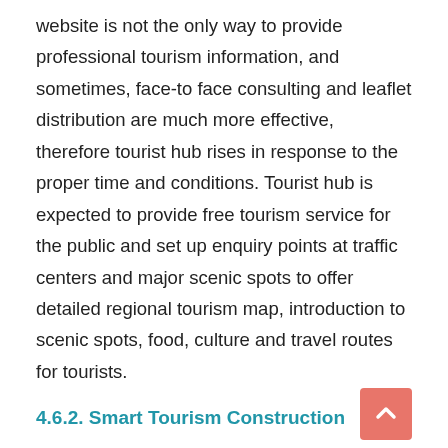website is not the only way to provide professional tourism information, and sometimes, face-to face consulting and leaflet distribution are much more effective, therefore tourist hub rises in response to the proper time and conditions. Tourist hub is expected to provide free tourism service for the public and set up enquiry points at traffic centers and major scenic spots to offer detailed regional tourism map, introduction to scenic spots, food, culture and travel routes for tourists.
4.6.2. Smart Tourism Construction
Smart tourism is not only the trend of tourism industry development but also an essential part of the tourism informatization strategy of the SSEZ. Leshan and Yibin have been listed as smart tourism pilot cities and the Sichuan Smart Tourism Key Research Center was established at Sichuan University of Science and Engineering, which qualifies the Southern Sichuan to establish smart tourism